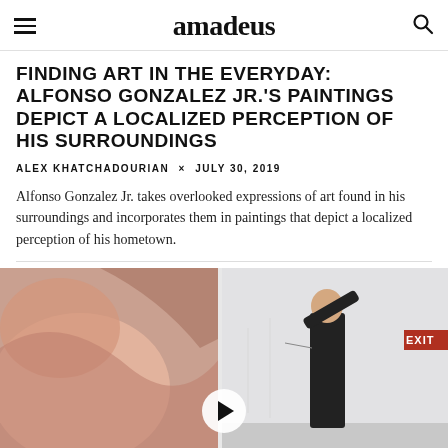amadeus
FINDING ART IN THE EVERYDAY: ALFONSO GONZALEZ JR.'S PAINTINGS DEPICT A LOCALIZED PERCEPTION OF HIS SURROUNDINGS
ALEX KHATCHADOURIAN × JULY 30, 2019
Alfonso Gonzalez Jr. takes overlooked expressions of art found in his surroundings and incorporates them in paintings that depict a localized perception of his hometown.
[Figure (photo): Photo of a man in black clothing writing or drawing on a large white wall next to a large colorful painting, with an EXIT sign visible in the upper right. A video play button overlay is shown at the bottom center.]